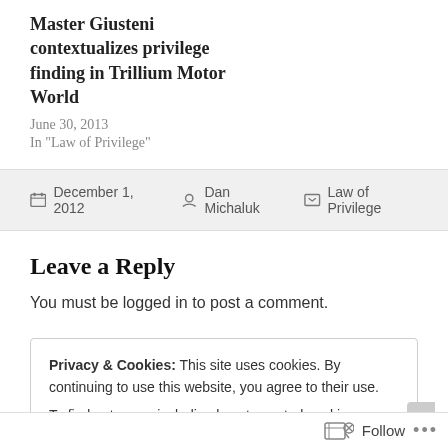Master Giusteni contextualizes privilege finding in Trillium Motor World
June 30, 2013
In "Law of Privilege"
December 1, 2012   Dan Michaluk   Law of Privilege
Leave a Reply
You must be logged in to post a comment.
Privacy & Cookies: This site uses cookies. By continuing to use this website, you agree to their use.
To find out more, including how to control cookies, see here: Cookie Policy
Close and accept
Follow ...